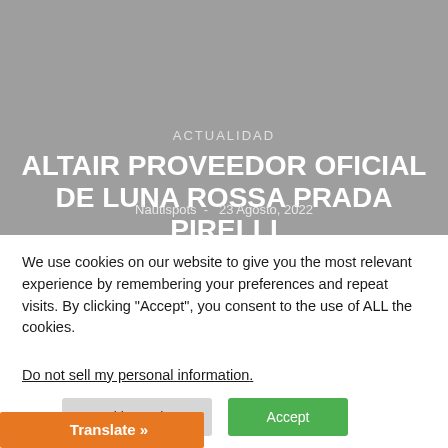[Figure (screenshot): Gray header background area of a webpage]
ACTUALIDAD
ALTAIR PROVEEDOR OFICIAL DE LUNA ROSSA PRADA PIRELLI
Nautispots - 23 Agosto, 2022
We use cookies on our website to give you the most relevant experience by remembering your preferences and repeat visits. By clicking “Accept”, you consent to the use of ALL the cookies.
Do not sell my personal information.
Cookie Settings
Accept
Translate »